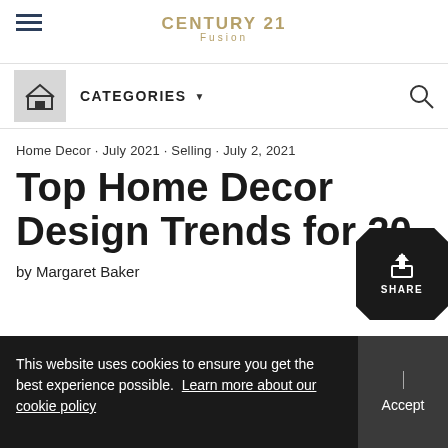CENTURY 21 Fusion
CATEGORIES
Home Decor · July 2021 · Selling · July 2, 2021
Top Home Decor Design Trends for 20
by Margaret Baker
This website uses cookies to ensure you get the best experience possible. Learn more about our cookie policy